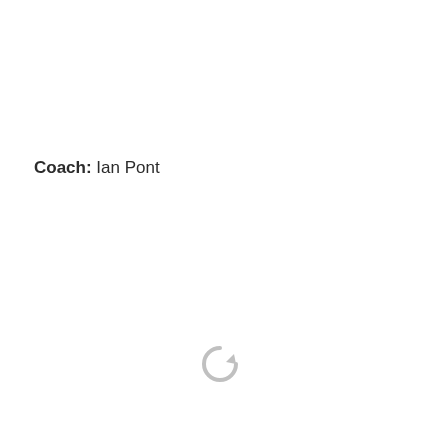Coach: Ian Pont
[Figure (other): A gray circular loading/refresh arrow icon indicating content is loading or a refresh action]